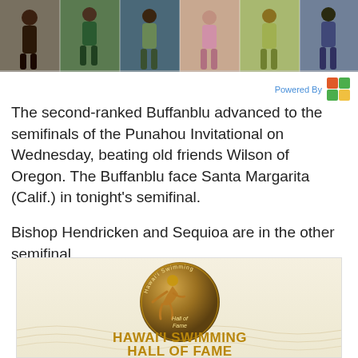[Figure (photo): Sports photo banner showing multiple athletes in various sports uniforms]
Powered By
The second-ranked Buffanblu advanced to the semifinals of the Punahou Invitational on Wednesday, beating old friends Wilson of Oregon. The Buffanblu face Santa Margarita (Calif.) in tonight’s semifinal.
Bishop Hendricken and Sequioa are in the other semifinal.
[Figure (illustration): Hawai’i Swimming Hall of Fame advertisement featuring a bronze medal with a swimmer figure and text HAWAI’I SWIMMING HALL OF FAME]